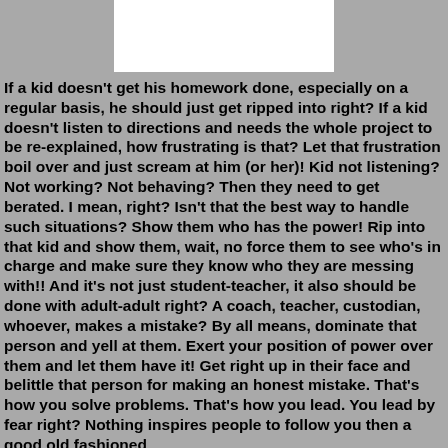[Figure (other): White rectangle at top center of page]
If a kid doesn't get his homework done, especially on a regular basis, he should just get ripped into right? If a kid doesn't listen to directions and needs the whole project to be re-explained, how frustrating is that? Let that frustration boil over and just scream at him (or her)! Kid not listening? Not working? Not behaving? Then they need to get berated. I mean, right? Isn't that the best way to handle such situations? Show them who has the power! Rip into that kid and show them, wait, no force them to see who's in charge and make sure they know who they are messing with!! And it's not just student-teacher, it also should be done with adult-adult right? A coach, teacher, custodian, whoever, makes a mistake? By all means, dominate that person and yell at them. Exert your position of power over them and let them have it! Get right up in their face and belittle that person for making an honest mistake. That's how you solve problems. That's how you lead. You lead by fear right? Nothing inspires people to follow you then a good old fashioned...